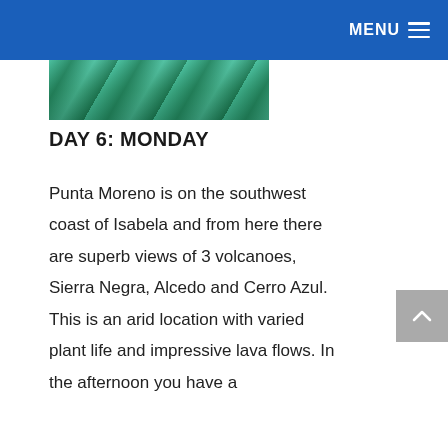MENU
[Figure (photo): Partial underwater or nature photo showing greenish-blue water and coral/vegetation, cropped at top.]
DAY 6: MONDAY
Punta Moreno is on the southwest coast of Isabela and from here there are superb views of 3 volcanoes, Sierra Negra, Alcedo and Cerro Azul. This is an arid location with varied plant life and impressive lava flows. In the afternoon you have a